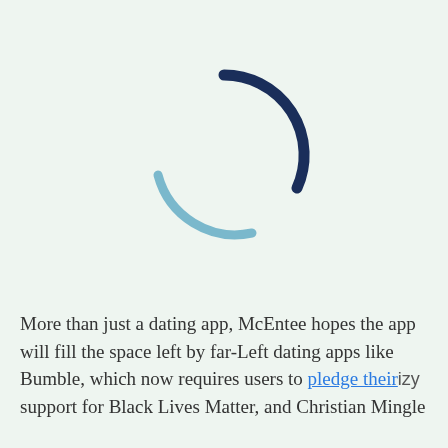[Figure (other): A loading spinner graphic showing two curved arc segments — one dark navy blue arc in the upper-right portion and one light steel blue arc in the lower-left portion — forming an incomplete circle spinner on a pale mint green background.]
More than just a dating app, McEntee hopes the app will fill the space left by far-Left dating apps like Bumble, which now requires users to pledge their support for Black Lives Matter, and Christian Mingle